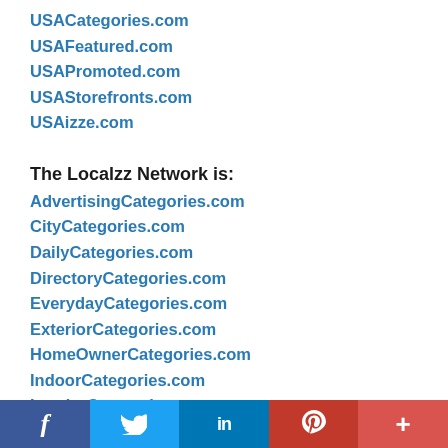USACategories.com
USAFeatured.com
USAPromoted.com
USAStorefronts.com
USAizze.com
The Localzz Network is:
AdvertisingCategories.com
CityCategories.com
DailyCategories.com
DirectoryCategories.com
EverydayCategories.com
ExteriorCategories.com
HomeOwnerCategories.com
IndoorCategories.com
InteriorCategories.com
ListingCategories.com